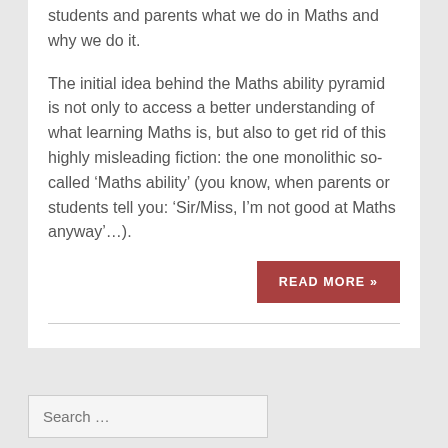students and parents what we do in Maths and why we do it.
The initial idea behind the Maths ability pyramid is not only to access a better understanding of what learning Maths is, but also to get rid of this highly misleading fiction: the one monolithic so-called ‘Maths ability’ (you know, when parents or students tell you: ‘Sir/Miss, I’m not good at Maths anyway’…).
READ MORE »
Search …